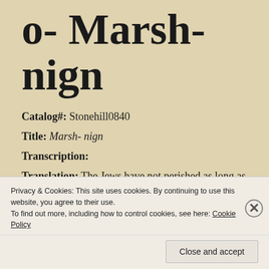o- Marsh-nign
Catalog#: Stonehill0840
Title: Marsh- nign
Transcription:
Translation: The Jews have not perished as long as God is above us. Hitler will be hanging upside down (soon). The chorus is: “hitler’s march….may cholera take him. May lightning strike him, may his life be
Privacy & Cookies: This site uses cookies. By continuing to use this website, you agree to their use. To find out more, including how to control cookies, see here: Cookie Policy
Close and accept